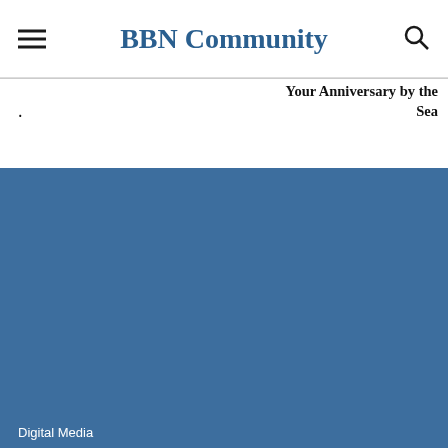BBN Community
Your Anniversary by the Sea
[Figure (other): Large blue-gray rectangular background block filling the lower portion of the page]
Digital Media